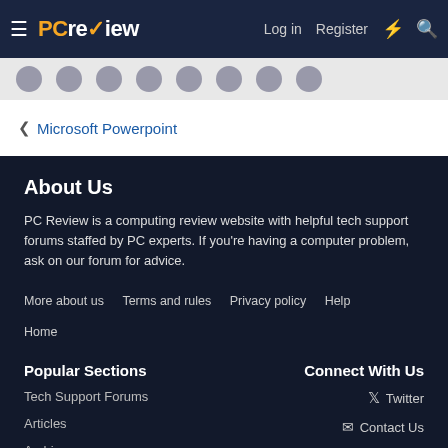PC Review — Log in | Register
< Microsoft Powerpoint
About Us
PC Review is a computing review website with helpful tech support forums staffed by PC experts. If you're having a computer problem, ask on our forum for advice.
More about us
Terms and rules
Privacy policy
Help
Home
Popular Sections
Connect With Us
Tech Support Forums
Twitter
Articles
Contact Us
Archives
RSS